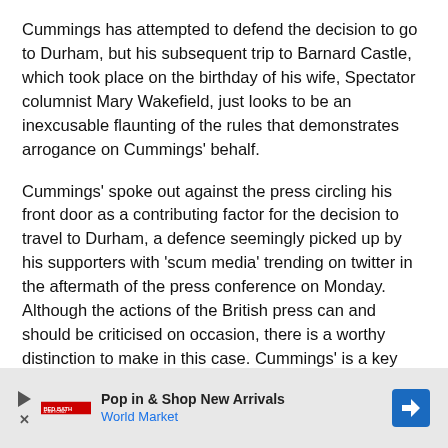Cummings has attempted to defend the decision to go to Durham, but his subsequent trip to Barnard Castle, which took place on the birthday of his wife, Spectator columnist Mary Wakefield, just looks to be an inexcusable flaunting of the rules that demonstrates arrogance on Cummings' behalf.
Cummings' spoke out against the press circling his front door as a contributing factor for the decision to travel to Durham, a defence seemingly picked up by his supporters with 'scum media' trending on twitter in the aftermath of the press conference on Monday. Although the actions of the British press can and should be criticised on occasion, there is a worthy distinction to make in this case. Cummings' is a key figure in the UK government, as the
[Figure (other): Advertisement banner for World Market: 'Pop in & Shop New Arrivals / World Market' with play icon, retailer logo, and blue diamond arrow icon on right.]